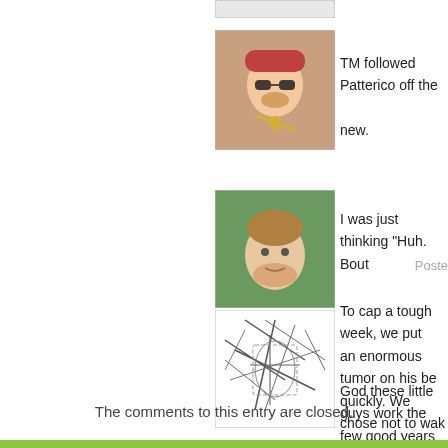[Figure (photo): Partial button/widget at top]
[Figure (photo): Avatar photo of person wearing hat and sunglasses]
TM followed Patterico off the new.
[Figure (photo): Avatar photo of an older man outdoors]
I was just thinking "Huh. Bout
Poste
[Figure (illustration): Abstract sketch/doodle illustration]
To cap a tough week, we put an enormous tumor on his be quickly. We chose not to wak
God these little guys work the few good years here.
The comments to this entry are closed.